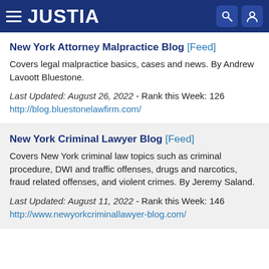JUSTIA
New York Attorney Malpractice Blog [Feed]
Covers legal malpractice basics, cases and news. By Andrew Lavoott Bluestone.
Last Updated: August 26, 2022 - Rank this Week: 126
http://blog.bluestonelawfirm.com/
New York Criminal Lawyer Blog [Feed]
Covers New York criminal law topics such as criminal procedure, DWI and traffic offenses, drugs and narcotics, fraud related offenses, and violent crimes. By Jeremy Saland.
Last Updated: August 11, 2022 - Rank this Week: 146
http://www.newyorkcriminallawyer-blog.com/